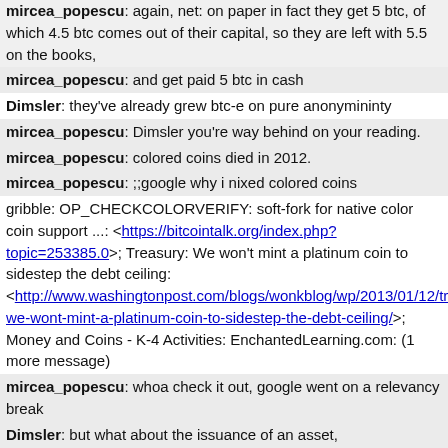mircea_popescu: again, net: on paper in fact they get 5 btc, of which 4.5 btc comes out of their capital, so they are left with 5.5 on the books,
mircea_popescu: and get paid 5 btc in cash
Dimsler: they've already grew btc-e on pure anonymininty
mircea_popescu: Dimsler you're way behind on your reading.
mircea_popescu: colored coins died in 2012.
mircea_popescu: ;;google why i nixed colored coins
gribble: OP_CHECKCOLORVERIFY: soft-fork for native color coin support ...: <https://bitcointalk.org/index.php?topic=253385.0>; Treasury: We won't mint a platinum coin to sidestep the debt ceiling: <http://www.washingtonpost.com/blogs/wonkblog/wp/2013/01/12/treasury-we-wont-mint-a-platinum-coin-to-sidestep-the-debt-ceiling/>; Money and Coins - K-4 Activities: EnchantedLearning.com: (1 more message)
mircea_popescu: whoa check it out, google went on a relevancy break
mircea_popescu: http://trilema.com/2013/why-i-nixed-p2p-colored-coins-and-all-that-jazz/
ozbot: Why I nixed p2p, colored coins and all that jazz pe Trilema - Un blog de Mircea Popescu.
mircea_popescu: there, a year ago almost to the day
Dimsler: i've read a bit about this
Dimsler: in essence its not specifically coloured coins
Dimsler: but what about the issuance of an asset,